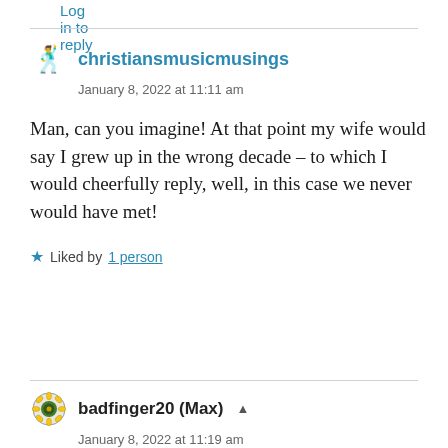Log in to reply
christiansmusicmusings
January 8, 2022 at 11:11 am
Man, can you imagine! At that point my wife would say I grew up in the wrong decade – to which I would cheerfully reply, well, in this case we never would have met!
Liked by 1 person
badfinger20 (Max)
January 8, 2022 at 11:19 am